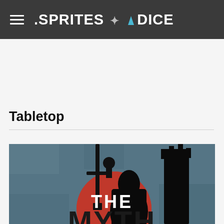.SPRITES + DICE
Tabletop
[Figure (illustration): Dark fantasy book cover illustration showing a silhouetted armored figure with a sword against a red circle/sun, with a dark castle tower in the background on a slate blue textured background. Large white text reads 'THE' and partial letters below.]